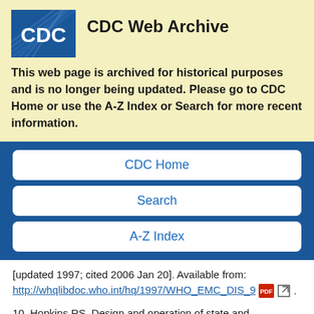[Figure (logo): CDC logo - blue square with white CDC text and diagonal lines pattern]
CDC Web Archive
This web page is archived for historical purposes and is no longer being updated. Please go to CDC Home or use the A-Z Index or Search for more recent information.
CDC Home
Search
A-Z Index
[updated 1997; cited 2006 Jan 20]. Available from: http://whqlibdoc.who.int/hq/1997/WHO_EMC_DIS_9 .
10. Hopkins RS. Design and operation of state and